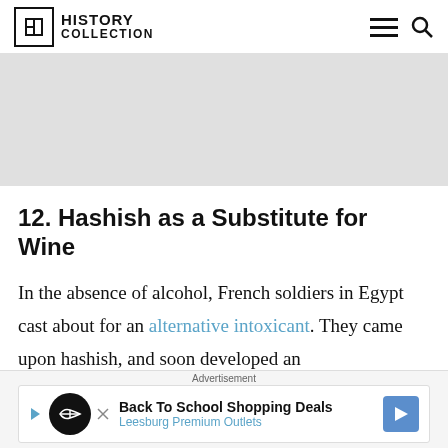HISTORY COLLECTION
[Figure (other): Gray advertisement banner placeholder area]
12. Hashish as a Substitute for Wine
In the absence of alcohol, French soldiers in Egypt cast about for an alternative intoxicant. They came upon hashish, and soon developed an
Advertisement
[Figure (other): Back To School Shopping Deals - Leesburg Premium Outlets advertisement banner]